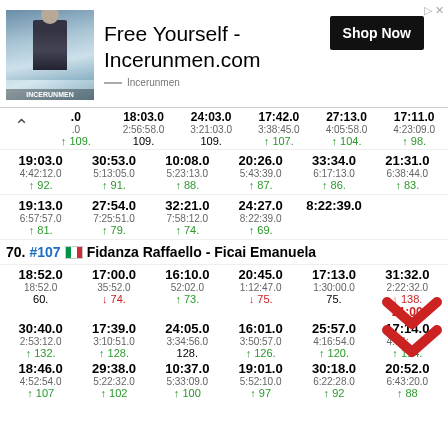[Figure (infographic): Advertisement banner for Incerunmen.com with model photo, text 'Free Yourself - Incerunmen.com', and Shop Now button]
| .0 | 18:03.0 | 24:03.0 | 17:42.0 | 27:13.0 | 17:11.0 |
| .0 | 2:56:58.0 | 3:21:03.0 | 3:38:45.0 | 4:05:58.0 | 4:23:09.0 |
| ↑ 109. | 109. | 109. | ↑ 107. | ↑ 104. | ↑ 98. |
| 19:03.0 | 30:53.0 | 10:08.0 | 20:26.0 | 33:34.0 | 21:31.0 |
| 4:42:12.0 | 5:13:05.0 | 5:23:13.0 | 5:43:39.0 | 6:17:13.0 | 6:38:44.0 |
| ↑ 92. | ↑ 91. | ↑ 88. | ↑ 87. | ↑ 86. | ↑ 83. |
| 19:13.0 | 27:54.0 | 32:21.0 | 24:27.0 | 8:22:39.0 |  |
| 6:57:57.0 | 7:25:51.0 | 7:58:12.0 | 8:22:39.0 |  |  |
| ↑ 81. | ↑ 79. | ↑ 74. | ↑ 69. |  |  |
70. #107 🇮🇹 Fidanza Raffaello - Ficai Emanuela
| 18:52.0 | 17:00.0 | 16:10.0 | 20:45.0 | 17:13.0 | 31:32.0 |
| 18:52.0 | 35:52.0 | 52:02.0 | 1:12:47.0 | 1:30:00.0 | 2:22:32.0 |
| 60. | ↓ 74. | ↑ 73. | ↓ 75. | 75. | ↓ 138. |
|  |  |  |  |  | 21:00 |
| 30:40.0 | 17:39.0 | 24:05.0 | 16:01.0 | 25:57.0 | 17:14.0 |
| 2:53:12.0 | 3:10:51.0 | 3:34:56.0 | 3:50:57.0 | 4:16:54.0 | 4:34:__.0 |
| ↑ 132. | ↑ 128. | 128. | ↑ 126. | ↑ 120. | ↑ 114. |
| 18:46.0 | 29:38.0 | 10:37.0 | 19:01.0 | 30:18.0 | 20:52.0 |
| 4:52:54.0 | 5:22:32.0 | 5:33:09.0 | 5:52:10.0 | 6:22:28.0 | 6:43:20.0 |
| ↑ 107 | ↑ 102 | ↑ 100 | ↑ 97 | ↑ 92 | ↑ 88 |